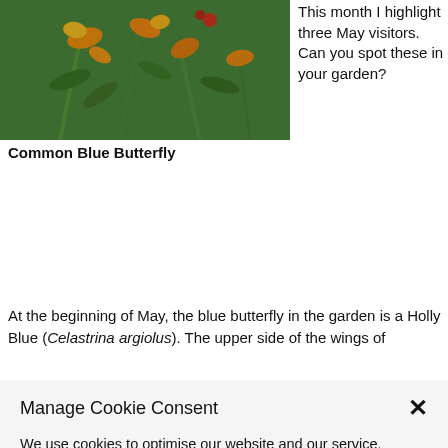[Figure (photo): Close-up photo of orange/yellow wildflowers with green stems against a green background]
Common Blue Butterfly
This month I highlight three May visitors. Can you spot these in your garden?
At the beginning of May, the blue butterfly in the garden is a Holly Blue (Celastrina argiolus). The upper side of the wings of
Manage Cookie Consent
We use cookies to optimise our website and our service.
Accept cookies
Deny
View preferences